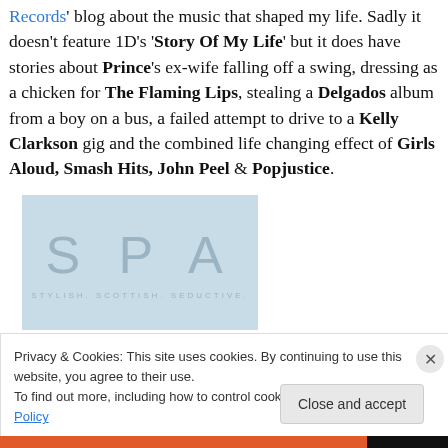Records' blog about the music that shaped my life. Sadly it doesn't feature 1D's 'Story Of My Life' but it does have stories about Prince's ex-wife falling off a swing, dressing as a chicken for The Flaming Lips, stealing a Delgados album from a boy on a bus, a failed attempt to drive to a Kelly Clarkson gig and the combined life changing effect of Girls Aloud, Smash Hits, John Peel & Popjustice.
[Figure (logo): SPA logo - light blue background with large letters S P A and tagline 'STYLISH. SCOTTISH. SEDUCTIVE.']
Privacy & Cookies: This site uses cookies. By continuing to use this website, you agree to their use.
To find out more, including how to control cookies, see here: Cookie Policy